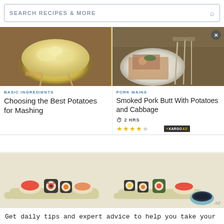SEARCH RECIPES & MORE
[Figure (photo): Bowl of mashed potatoes]
BASIC INGREDIENTS
Choosing the Best Potatoes for Mashing
[Figure (photo): Smoked pork with potatoes and cabbage on a plate with silverware]
PORK MAINS
Smoked Pork Butt With Potatoes and Cabbage
2 HRS
[Figure (illustration): Illustrated sushi plates with chopsticks picking up sushi and a bowl of soy sauce. Advertisement banner.]
Ad
Get daily tips and expert advice to help you take your